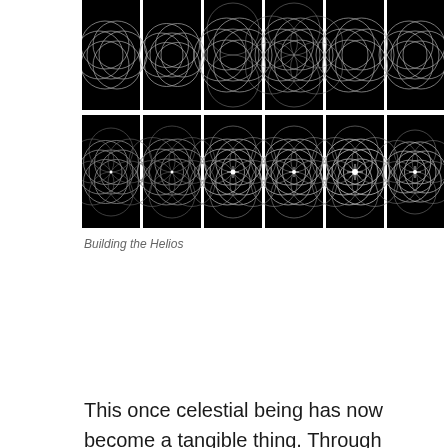[Figure (illustration): Two rows of six black-background panels each showing geometric circular patterns (Helios construction stages) with overlapping circles forming flower/mandala-like shapes. Some panels show brighter central star-like points.]
Building the Helios
This once celestial being has now become a tangible thing. Through advances in our technological and scientific capability we have gained an understanding of the suns chemical make-up, uncovering many of its secrets from sun spots to solar flares. Although we have developed an increased understanding of the forces driving the sun, it is still no more accessible to us mere humans than on the first day on earth remaining an impenetrable sphere in the sky only to viewed from